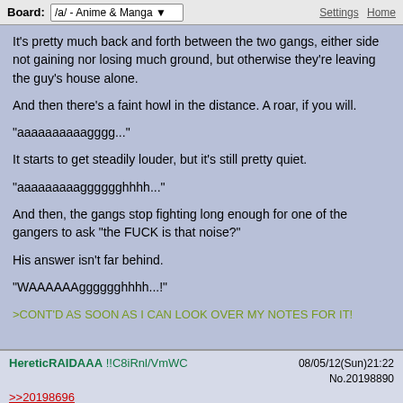Board: /a/ - Anime & Manga | Settings Home
It's pretty much back and forth between the two gangs, either side not gaining nor losing much ground, but otherwise they're leaving the guy's house alone.

And then there's a faint howl in the distance. A roar, if you will.

"aaaaaaaaaagggg..."

It starts to get steadily louder, but it's still pretty quiet.

"aaaaaaaaagggggghhhh..."

And then, the gangs stop fighting long enough for one of the gangers to ask "the FUCK is that noise?"

His answer isn't far behind.

"WAAAAAAgggggghhhh...!"

>CONT'D AS SOON AS I CAN LOOK OVER MY NOTES FOR IT!
HereticRAIDAAA !!C8iRnl/VmWC 08/05/12(Sun)21:22 No.20198890
>>20198696